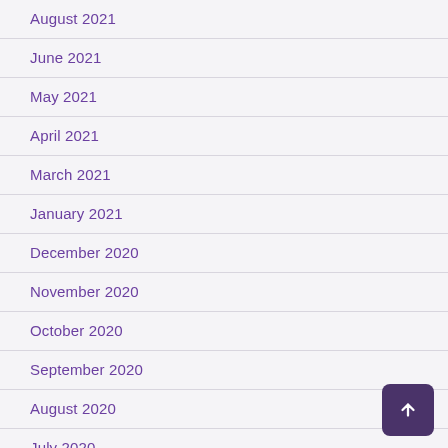August 2021
June 2021
May 2021
April 2021
March 2021
January 2021
December 2020
November 2020
October 2020
September 2020
August 2020
July 2020